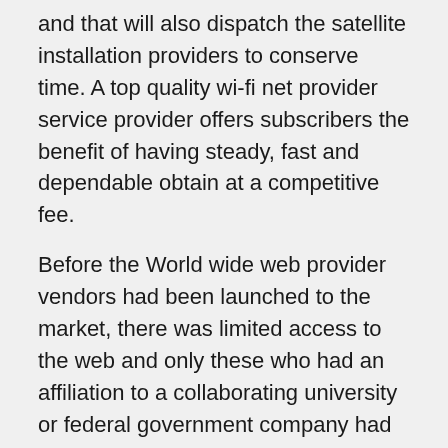and that will also dispatch the satellite installation providers to conserve time. A top quality wi-fi net provider service provider offers subscribers the benefit of having steady, fast and dependable obtain at a competitive fee.
Before the World wide web provider vendors had been launched to the market, there was limited access to the web and only these who had an affiliation to a collaborating university or federal government company had the privilege. It was in the late 90's when the amount of Web support companies had substantially enhanced to approximately 10,000 about the planet, with more than 50 percent of it is located in the U.S. Most of the Internet services providers back again then have been tiny businesses that produced a deal for internet companies from more substantial ISP organizations this sort of as The united states Online and offered their providers to consumers and firms. AOL grew to become the top company for ISP's all around the entire world. At around the exact same time, several point out-owned ISP's